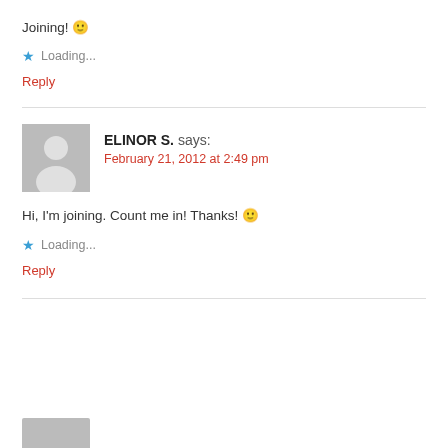Joining! 🙂
★ Loading...
Reply
ELINOR S. says:
February 21, 2012 at 2:49 pm
Hi, I'm joining. Count me in! Thanks! 🙂
★ Loading...
Reply